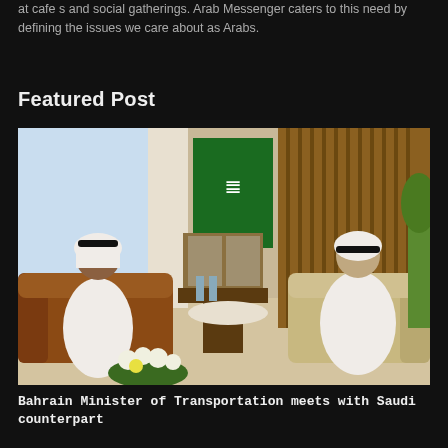at cafe s and social gatherings. Arab Messenger caters to this need by defining the issues we care about as Arabs.
Featured Post
[Figure (photo): Two Arab men in traditional white thobes seated across from each other in a formal office meeting setting with a Saudi flag in the background and a framed portrait on a wooden cabinet. Flowers are arranged in the foreground.]
Bahrain Minister of Transportation meets with Saudi counterpart